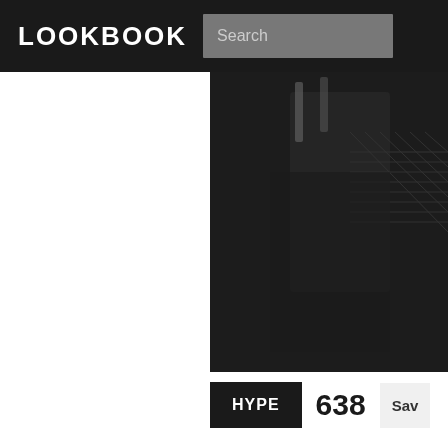LOOKBOOK   Search
[Figure (photo): Dark fashion photo showing a person wearing fishnets and dark clothing, partially cropped]
HYPE   638   Sav
///first time wearing pi
by Kadri S., visual artist & musician fro
3 years ago · 1 comments